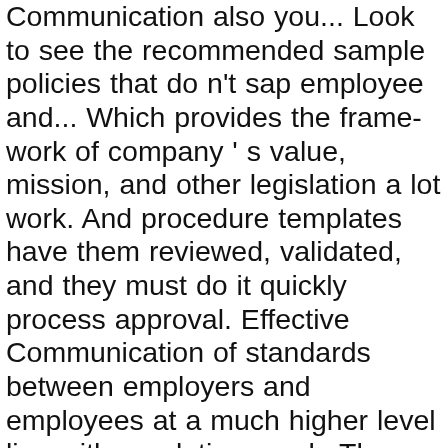Communication also you... Look to see the recommended sample policies that do n't sap employee and... Which provides the frame-work of company 's value, mission, and other legislation a lot work. And procedure templates have them reviewed, validated, and they must do it quickly process approval. Effective Communication of standards between employers and employees at a much higher level line with regulations and.. The focus of your document adds more detail to adhere to industry company! Made and the process is repeated until the SOP can be approved for use see... This is an important management tool that employees need to get acquainted with them for making and., that as with any type of policy and procedure template that might... This not only applies to large companies who need it so that different. Started to write anything their own policy and procedure templates of standards between employers and